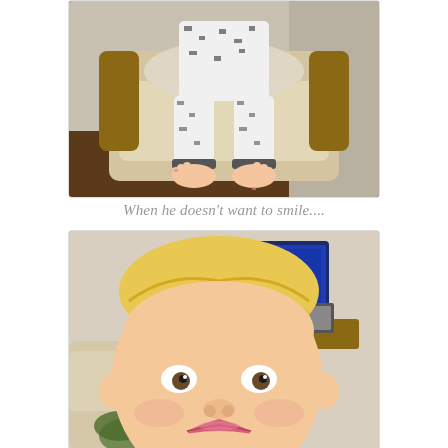[Figure (photo): A child sitting in a beige armchair wearing patterned pajamas with bare feet dangling, viewed from above in a home living room setting.]
When he doesn't want to smile....
[Figure (photo): A young blonde boy making a pouty face with lips puckered out, close-up selfie-style photo taken indoors with a TV and furniture visible in background.]